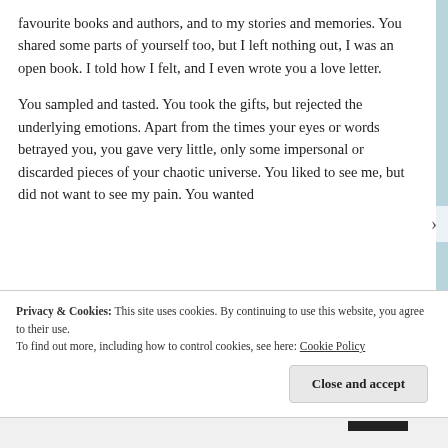favourite books and authors, and to my stories and memories. You shared some parts of yourself too, but I left nothing out, I was an open book. I told how I felt, and I even wrote you a love letter.
You sampled and tasted. You took the gifts, but rejected the underlying emotions. Apart from the times your eyes or words betrayed you, you gave very little, only some impersonal or discarded pieces of your chaotic universe. You liked to see me, but did not want to see my pain. You wanted
Privacy & Cookies: This site uses cookies. By continuing to use this website, you agree to their use.
To find out more, including how to control cookies, see here: Cookie Policy